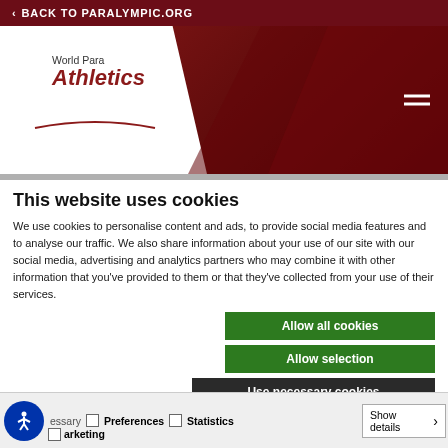< BACK TO PARALYMPIC.ORG
[Figure (logo): World Para Athletics logo on white background with dark red diagonal background]
This website uses cookies
We use cookies to personalise content and ads, to provide social media features and to analyse our traffic. We also share information about your use of our site with our social media, advertising and analytics partners who may combine it with other information that you've provided to them or that they've collected from your use of their services.
Allow all cookies
Allow selection
Use necessary cookies
essary  Preferences  Statistics  Marketing  Show details